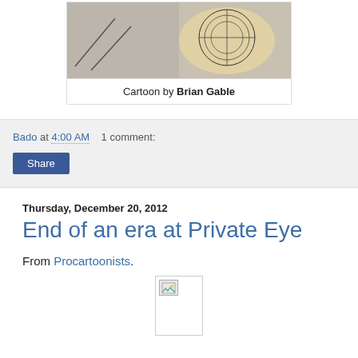[Figure (illustration): Partial view of a cartoon illustration by Brian Gable, showing figures and a detailed drawing]
Cartoon by Brian Gable
Bado at 4:00 AM    1 comment:
Share
Thursday, December 20, 2012
End of an era at Private Eye
From Procartoonists.
[Figure (illustration): Broken/missing image placeholder icon]